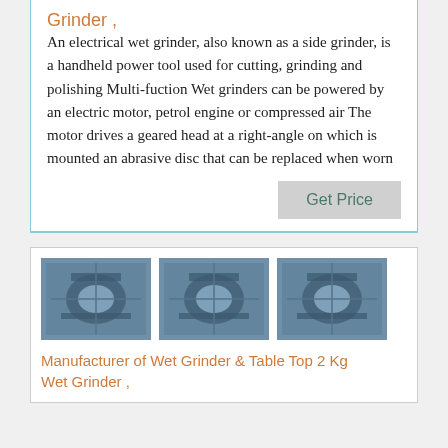Grinder ,
An electrical wet grinder, also known as a side grinder, is a handheld power tool used for cutting, grinding and polishing Multi-fuction Wet grinders can be powered by an electric motor, petrol engine or compressed air The motor drives a geared head at a right-angle on which is mounted an abrasive disc that can be replaced when worn
Get Price
[Figure (photo): Three repeated images of a wet grinder machine viewed from above]
Manufacturer of Wet Grinder & Table Top 2 Kg Wet Grinder ,